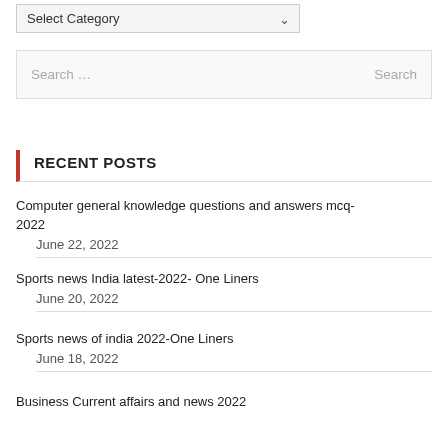Select Category
Search …
RECENT POSTS
Computer general knowledge questions and answers mcq-2022
June 22, 2022
Sports news India latest-2022- One Liners
June 20, 2022
Sports news of india 2022-One Liners
June 18, 2022
Business Current affairs and news 2022